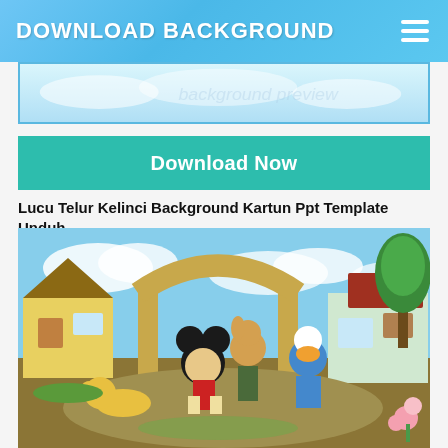DOWNLOAD BACKGROUND
[Figure (screenshot): Partial preview of a cartoon background image with light blue tones]
[Figure (other): Teal/green Download Now button]
Lucu Telur Kelinci Background Kartun Ppt Template Unduh
[Figure (photo): A painted wall mural or backdrop showing Disney characters Mickey Mouse, Pluto, Goofy, Donald Duck in a cartoon village scene with houses, archway, trees and flowers]